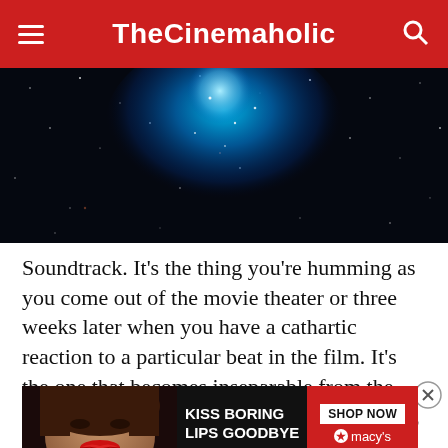TheCinemaholic
[Figure (photo): Dark space/nebula image with bright blue cosmic cloud and stars against black background]
Soundtrack. It’s the thing you’re humming as you come out of the movie theater or three weeks later when you have a cathartic reaction to a particular beat in the film. It’s the one that becomes inseparable from the images, the faces, the sounds and the images, faces … om it. It’s th… o you when you’re listening to it on your iPod.
[Figure (advertisement): Macy’s lipstick advertisement with text KISS BORING LIPS GOODBYE and SHOP NOW button]